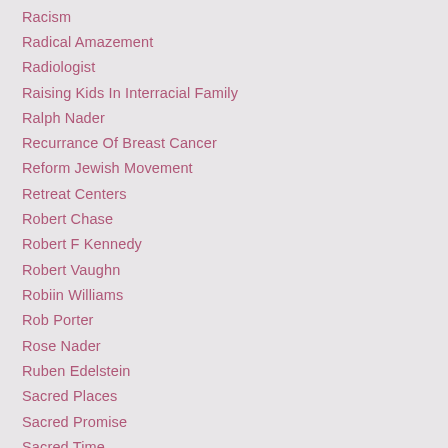Racism
Radical Amazement
Radiologist
Raising Kids In Interracial Family
Ralph Nader
Recurrance Of Breast Cancer
Reform Jewish Movement
Retreat Centers
Robert Chase
Robert F Kennedy
Robert Vaughn
Robiin Williams
Rob Porter
Rose Nader
Ruben Edelstein
Sacred Places
Sacred Promise
Sacred Time
Sad News